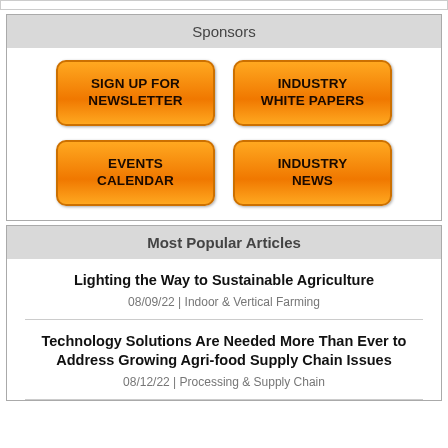Sponsors
[Figure (infographic): Four orange buttons arranged in a 2x2 grid: SIGN UP FOR NEWSLETTER, INDUSTRY WHITE PAPERS, EVENTS CALENDAR, INDUSTRY NEWS]
Most Popular Articles
Lighting the Way to Sustainable Agriculture
08/09/22 | Indoor & Vertical Farming
Technology Solutions Are Needed More Than Ever to Address Growing Agri-food Supply Chain Issues
08/12/22 | Processing & Supply Chain